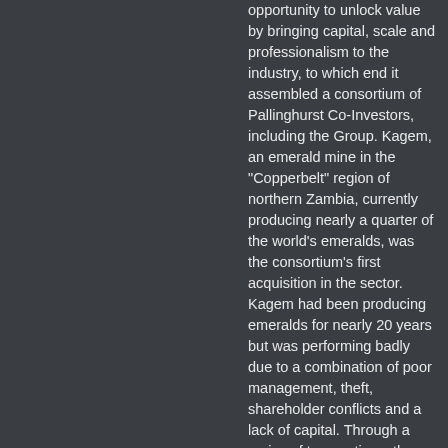opportunity to unlock value by bringing capital, scale and professionalism to the industry, to which end it assembled a consortium of Pallinghurst Co-Investors, including the Group. Kagem, an emerald mine in the "Copperbelt" region of northern Zambia, currently producing nearly a quarter of the world's emeralds, was the consortium's first acquisition in the sector. Kagem had been producing emeralds for nearly 20 years but was performing badly due to a combination of poor management, theft, shareholder conflicts and a lack of capital. Through a series of transactions, the consortium acquired 75% of Kagem, with the balance held by the Government of the Republic of Zambia. In pursuing its vision for consolidating the sector, the consortium acquired majority control of AIM-listed Gemfields plc ("Gemfields") by selling Kagem to Gemfields in a reverse takeover during 2008. MBUVA-CHIBOLELE The Mbuva-Chibolele licence is located on the Fwaya-Fwaya–Pirala Belt in the NRERA within the Kafubu area of the Copperbelt Province of Zambia, on the southern banks of the Kafubu River. It lies along the west-southwest strike from the nearby Fwaya-Fwaya